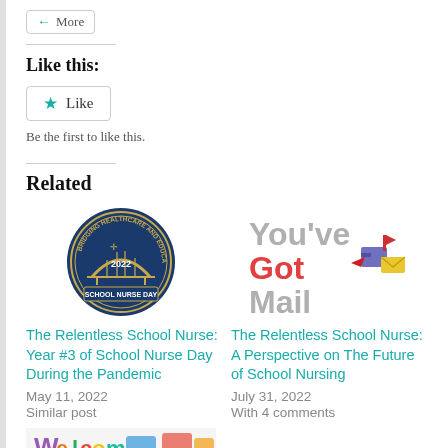More
Like this:
Like
Be the first to like this.
Related
[Figure (logo): Circular badge logo: 'Bridging Healthcare and Education' around an arch/bridge graphic, '2022' and 'School Nurse Day' text]
The Relentless School Nurse: Year #3 of School Nurse Day During the Pandemic
May 11, 2022
Similar post
[Figure (illustration): You've Got Mail graphic with colorful mailbox and envelope illustration, gray text]
The Relentless School Nurse: A Perspective on The Future of School Nursing
July 31, 2022
With 4 comments
[Figure (illustration): Colorful welcome/classroom themed banner image, partially visible at bottom]